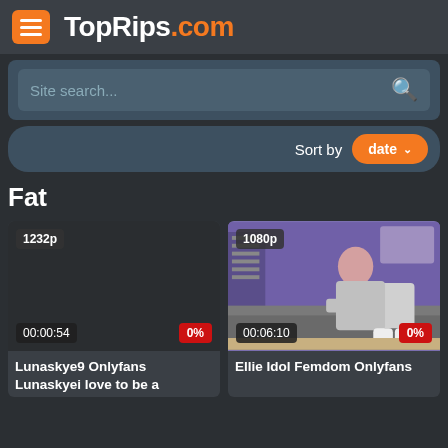TopRips.com
Site search...
Sort by date
Fat
[Figure (screenshot): Video thumbnail dark/blank, quality badge 1232p, duration 00:00:54, rating 0%]
Lunaskye9 Onlyfans Lunaskyei love to be a
[Figure (photo): Video thumbnail showing a woman on a grey couch against purple wall, quality badge 1080p, duration 00:06:10, rating 0%]
Ellie Idol Femdom Onlyfans